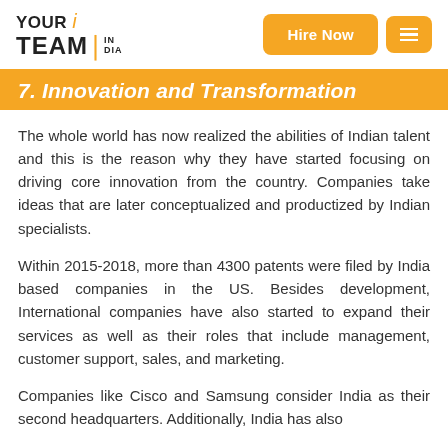YOUR TEAM IN INDIA | Hire Now
7. Innovation and Transformation
The whole world has now realized the abilities of Indian talent and this is the reason why they have started focusing on driving core innovation from the country. Companies take ideas that are later conceptualized and productized by Indian specialists.
Within 2015-2018, more than 4300 patents were filed by India based companies in the US. Besides development, International companies have also started to expand their services as well as their roles that include management, customer support, sales, and marketing.
Companies like Cisco and Samsung consider India as their second headquarters. Additionally, India has also...